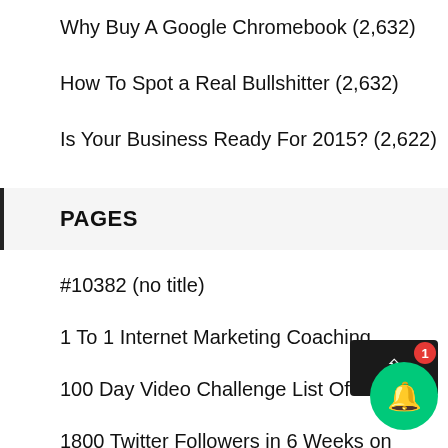Why Buy A Google Chromebook (2,632)
How To Spot a Real Bullshitter (2,632)
Is Your Business Ready For 2015? (2,622)
PAGES
#10382 (no title)
1 To 1 Internet Marketing Coaching
100 Day Video Challenge List Of Videos ..
1800 Twitter Followers in 6 Weeks on Auto...